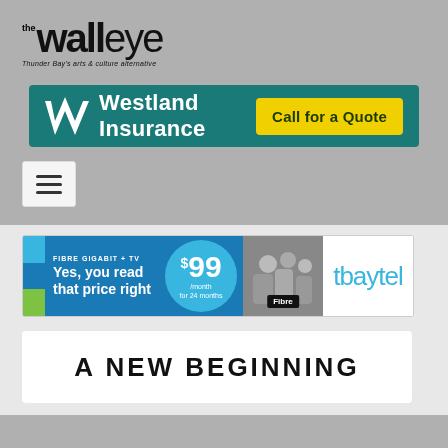[Figure (logo): The Walleye logo — Thunder Bay's arts and culture alternative]
[Figure (infographic): Westland Insurance banner ad with 'Call for a Quote' button on teal background]
[Figure (infographic): Tbaytel Fibre Gigabit + TV banner ad: Yes, you read that price right — $99/month for 24 months]
A NEW BEGINNING